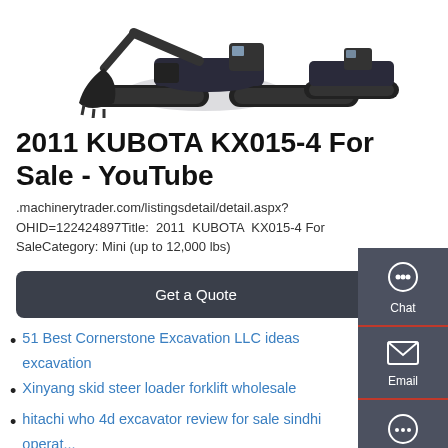[Figure (photo): Photo of a 2011 Kubota KX015-4 mini excavator, showing the machine from the front/side with bucket and rubber tracks, dark colored.]
2011 KUBOTA KX015-4 For Sale - YouTube
.machinerytrader.com/listingsdetail/detail.aspx?OHID=122424897Title: 2011 KUBOTA KX015-4 For SaleCategory: Mini (up to 12,000 lbs)
Get a Quote
51 Best Cornerstone Excavation LLC ideas excavation
Xinyang skid steer loader forklift wholesale
hitachi who 4d excavator review for sale sindhi operat...
China 2 Ton Lugong Tractor Front Wheel Loader for
US7974993B2 - Application loader for support of version
New Brand Compact 4WD Backhoe Loader with Lower Price